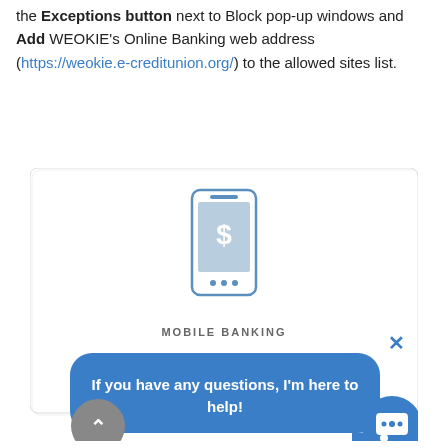the Exceptions button next to Block pop-up windows and Add WEOKIE's Online Banking web address (https://weokie.e-creditunion.org/) to the allowed sites list.
[Figure (screenshot): A card/modal showing a mobile banking phone icon, partially visible 'MOBILE BANKING' label, an X close button, and a blue chat bubble saying 'If you have any questions, I'm here to help!' with a back-to-top button and a chat button at the bottom.]